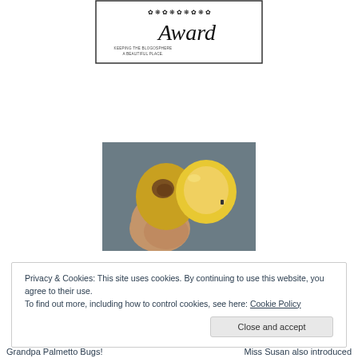[Figure (illustration): Award badge/certificate image with decorative floral border and text 'Award' in italic script, with smaller text 'KEEPING THE BLOGOSPHERE A BEAUTIFUL PLACE']
[Figure (photo): Close-up photo of a hand holding a small yellow fruit or seed pod, split open to show yellow interior, against a blurred background]
Privacy & Cookies: This site uses cookies. By continuing to use this website, you agree to their use.
To find out more, including how to control cookies, see here: Cookie Policy
Close and accept
Grandpa Palmetto Bugs!    Miss Susan also introduced